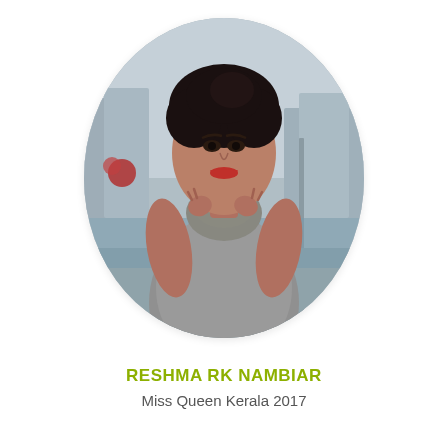[Figure (photo): Oval-cropped portrait photo of a young woman with dark hair pulled up, wearing a grey textured top with a cowl-style scarf/turtleneck. She is holding the collar area with both hands. Background shows an urban/cityscape scene with buildings and a railing, blurred (bokeh).]
RESHMA RK NAMBIAR
Miss Queen Kerala 2017